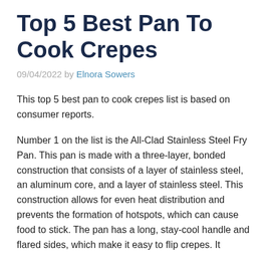Top 5 Best Pan To Cook Crepes
09/04/2022 by Elnora Sowers
This top 5 best pan to cook crepes list is based on consumer reports.
Number 1 on the list is the All-Clad Stainless Steel Fry Pan. This pan is made with a three-layer, bonded construction that consists of a layer of stainless steel, an aluminum core, and a layer of stainless steel. This construction allows for even heat distribution and prevents the formation of hotspots, which can cause food to stick. The pan has a long, stay-cool handle and flared sides, which make it easy to flip crepes. It